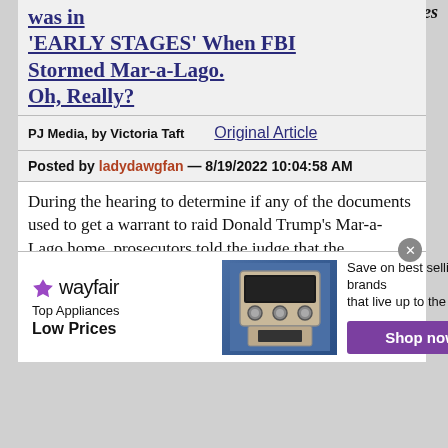was in 'EARLY STAGES' When FBI Stormed Mar-a-Lago. Oh, Really?
PJ Media, by Victoria Taft   Original Article
Posted by ladydawgfan — 8/19/2022 10:04:58 AM
During the hearing to determine if any of the documents used to get a warrant to raid Donald Trump’s Mar-a-Lago home, prosecutors told the judge that the investigation was in its “early stages” and argued to keep all of their documents secret for fear of giving the former president’s lawyers a “roadmap” to their case. Judge Bruce Reinhart said he was inclined to release some of the documents and gave the government one week to come up with a plan to
[Figure (infographic): Wayfair advertisement: Top Appliances Low Prices, with image of kitchen appliance and Shop now button]